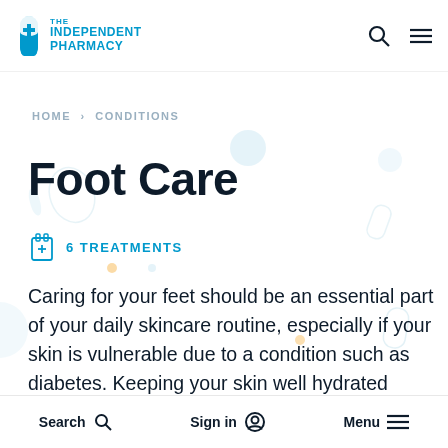THE INDEPENDENT PHARMACY
HOME > CONDITIONS
Foot Care
6 TREATMENTS
Caring for your feet should be an essential part of your daily skincare routine, especially if your skin is vulnerable due to a condition such as diabetes. Keeping your skin well hydrated using a cream or
Search   Sign in   Menu